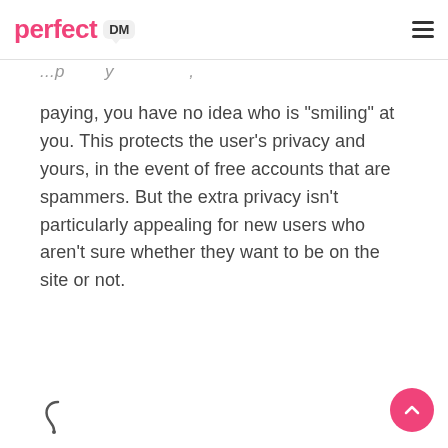perfect DM
paying, you have no idea who is “smiling” at you. This protects the user’s privacy and yours, in the event of free accounts that are spammers. But the extra privacy isn’t particularly appealing for new users who aren’t sure whether they want to be on the site or not.